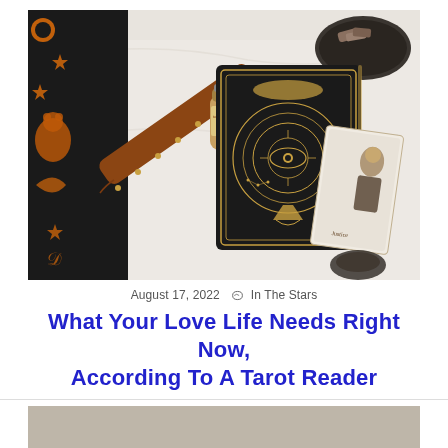[Figure (photo): Overhead flat-lay photo of mystical/tarot items on a white fabric background: a dark hardcover journal with gold eye mandala design, a tarot card showing a figure, a wooden incense holder, a small perfume roller bottle, a dark tray with crystals/sage, and a black and orange celestial-patterned blanket in the corner.]
August 17, 2022   In The Stars
What Your Love Life Needs Right Now, According To A Tarot Reader
[Figure (photo): Partial preview of a second photo at the bottom of the page, mostly cropped out.]